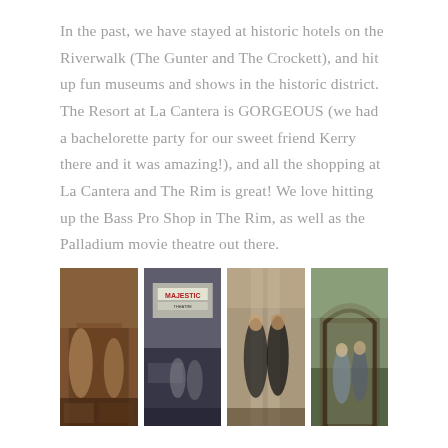In the past, we have stayed at historic hotels on the Riverwalk (The Gunter and The Crockett), and hit up fun museums and shows in the historic district. The Resort at La Cantera is GORGEOUS (we had a bachelorette party for our sweet friend Kerry there and it was amazing!), and all the shopping at La Cantera and The Rim is great! We love hitting up the Bass Pro Shop in The Rim, as well as the Palladium movie theatre out there.
[Figure (photo): Photo 1: Two women shopping in what appears to be a Bass Pro Shop or outdoor retail store with rustic wooden architecture]
[Figure (photo): Photo 2: Two women standing outside the Majestic Theatre at night with the marquee sign visible]
[Figure (photo): Photo 3: Two women in black dresses posing indoors]
[Figure (photo): Photo 4: A couple posing under a stone archway covered in vines, outdoor garden setting]